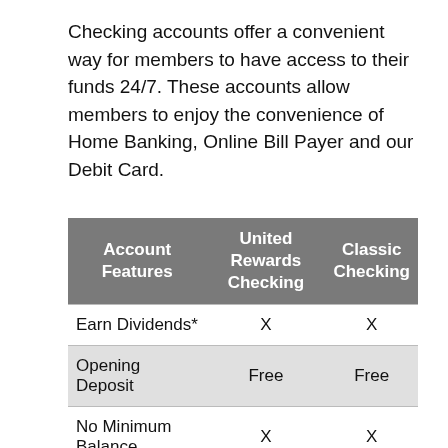Checking accounts offer a convenient way for members to have access to their funds 24/7. These accounts allow members to enjoy the convenience of Home Banking, Online Bill Payer and our Debit Card.
| Account Features | United Rewards Checking | Classic Checking |
| --- | --- | --- |
| Earn Dividends* | X | X |
| Opening Deposit | Free | Free |
| No Minimum Balance | X | X |
| No Service Fees | X | X |
| Direct Deposit | X | X |